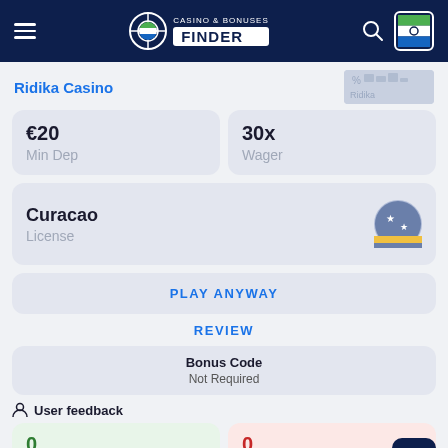Casino & Bonuses Finder
Ridika Casino
| Min Dep | Wager |
| --- | --- |
| €20 | 30x |
Curacao
License
PLAY ANYWAY
REVIEW
Bonus Code
Not Required
User feedback
0
GOOD
0
BAD
18+ new players only